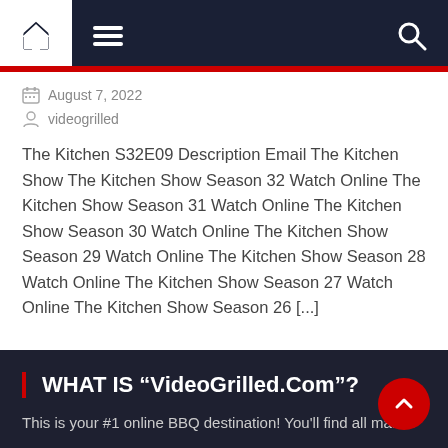Navigation bar with home, menu, and search icons
August 7, 2022
videogrilled
The Kitchen S32E09 Description Email The Kitchen Show The Kitchen Show Season 32 Watch Online The Kitchen Show Season 31 Watch Online The Kitchen Show Season 30 Watch Online The Kitchen Show Season 29 Watch Online The Kitchen Show Season 28 Watch Online The Kitchen Show Season 27 Watch Online The Kitchen Show Season 26 [...]
WHAT IS “VideoGrilled.Com”?
This is your #1 online BBQ destination! You'll find all master